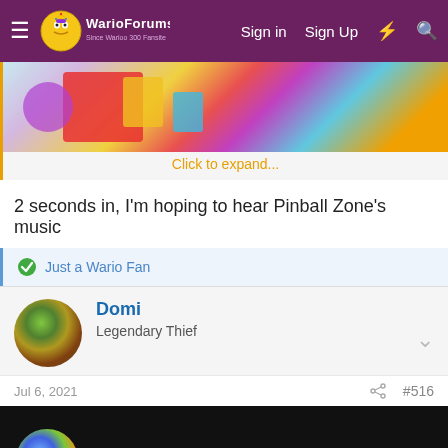WarioForums — Sign in  Sign Up
[Figure (screenshot): Partially visible colorful game screenshot with 'Click to expand...' link in orange text]
2 seconds in, I'm hoping to hear Pinball Zone's music
Just a Wario Fan
Domi
Legendary Thief
Jul 6, 2021  #516
[Figure (screenshot): Video embed showing 'Wario Land 64' with circular channel icon on black background]